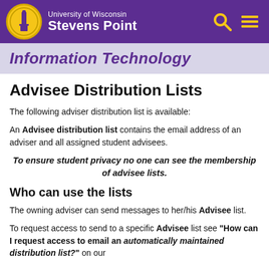University of Wisconsin Stevens Point
Information Technology
Advisee Distribution Lists
The following adviser distribution list is available:
An Advisee distribution list contains the email address of an adviser and all assigned student advisees.
To ensure student privacy no one can see the membership of advisee lists.
Who can use the lists
The owning adviser can send messages to her/his Advisee list.
To request access to send to a specific Advisee list see "How can I request access to email an automatically maintained distribution list?" on our